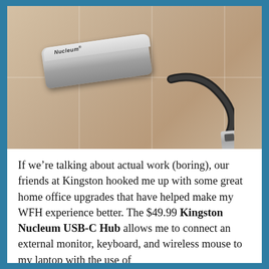[Figure (photo): A Kingston Nucleum USB-C Hub device with a silver/grey rectangular body and a black flexible cable ending in a USB-C connector, photographed on a beige tile surface.]
If we’re talking about actual work (boring), our friends at Kingston hooked me up with some great home office upgrades that have helped make my WFH experience better. The $49.99 Kingston Nucleum USB-C Hub allows me to connect an external monitor, keyboard, and wireless mouse to my laptop with the use of